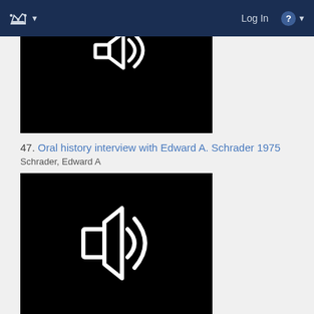Log In  ?
[Figure (screenshot): Black thumbnail image with partial white audio/media icon visible at top, cropped]
47. Oral history interview with Edward A. Schrader 1975
Schrader, Edward A
[Figure (screenshot): Black thumbnail image with white speaker/audio icon in center]